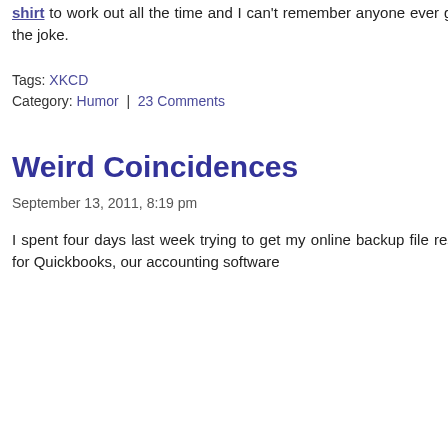shirt to work out all the time and I can't remember anyone ever getting the joke.
Tags: XKCD
Category: Humor | 23 Comments
Weird Coincidences
September 13, 2011, 8:19 pm
I spent four days last week trying to get my online backup file restored for Quickbooks, our accounting software
October 2010
September 2010
August 2010
July 2010
June 2010
May 2010
April 2010
March 2010
February 2010
January 2010
December 2009
November 2009
October 2009
September 2009
August 2009
July 2009
June 2009
May 2009
April 2009
March 2009
February 2009